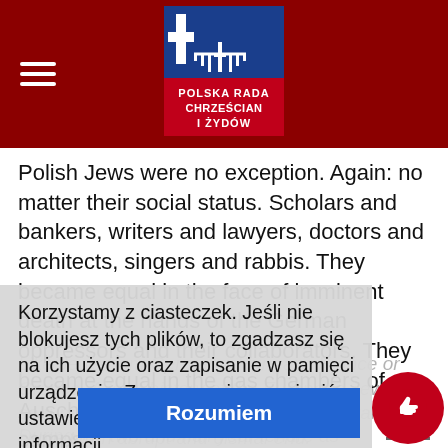Polska Rada Chrześcijan i Żydów (logo header)
Polish Jews were no exception. Again: no matter their social status. Scholars and bankers, writers and lawyers, doctors and architects, singers and rabbis. They became equal in the face of imminent death at the hands of the German oppressors and their collaborators. They became equal in the gas chambers of Auschwitz and other extermination camps.
Like Jews from Germany, Hungary, France or Greece. A long history of the European Jewry, so tumultuous, but also so rich and enthralling came to an abrupt and dismal end.
During my two and half year tenure as ambassador of Poland I have been traveling a lot around Israel, meeting mostly young Jews, in secondary schools, colleges, universities, trying to shed some light on our shared past. The very first obstacle I came across was the pervasive perception of the majority of Israelis that our common history, the history of two nations is invariably associated solely with those six dreadful years of World War II.
Korzystamy z ciasteczek. Jeśli nie blokujesz tych plików, to zgadzasz się na ich użycie oraz zapisanie w pamięci urządzenia. Zawsze możesz zmienić ustawienia przeglądarki. Więcej informacji.
Rozumiem